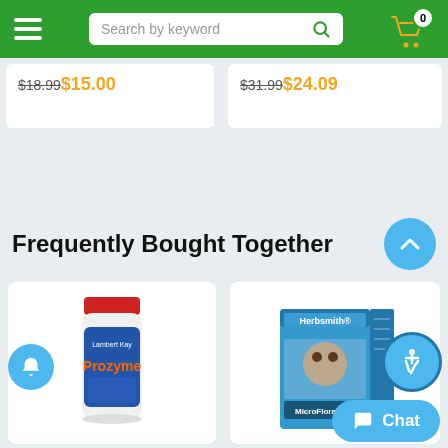Search by keyword
$18.99 $15.00
$31.99 $24.09
Frequently Bought Together
[Figure (photo): Lambert Kay Prozyme enzyme supplement bottle for dogs and cats]
[Figure (photo): Herbsmith MicroFlora Plus digestive supplement box for dogs]